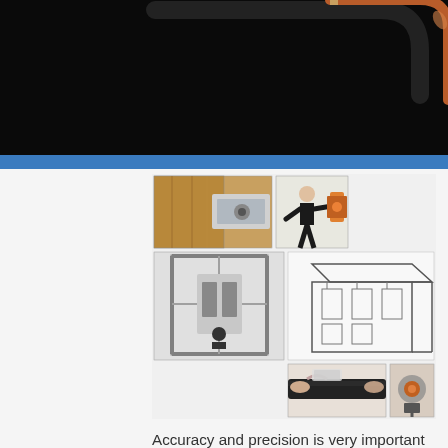[Figure (photo): Top portion of a black background image showing a bent copper/metal rod or coil component against black background]
[Figure (photo): Collage of six images showing industrial coil taping equipment, machinery, workers operating equipment, and schematic diagrams of taping platforms]
Accuracy and precision is very important while taping your coil with delicate and expensive insulation materials. While holding your coil firmly on our taping platforms, you can easily adjust overlapping percentage of your tapes on our taping head. Both the platform and the head don't require any preparation or set up time. As Fenixta has constant developing policy, we are soon to announce a new approach on coil or bar